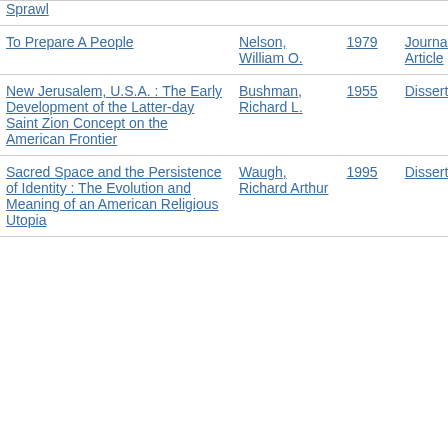| Title | Author | Year | Type |
| --- | --- | --- | --- |
| Sprawl |  |  |  |
| To Prepare A People | Nelson, William O. | 1979 | Journal Article |
| New Jerusalem, U.S.A. : The Early Development of the Latter-day Saint Zion Concept on the American Frontier | Bushman, Richard L. | 1955 | Dissertation |
| Sacred Space and the Persistence of Identity : The Evolution and Meaning of an American Religious Utopia | Waugh, Richard Arthur | 1995 | Dissertation |